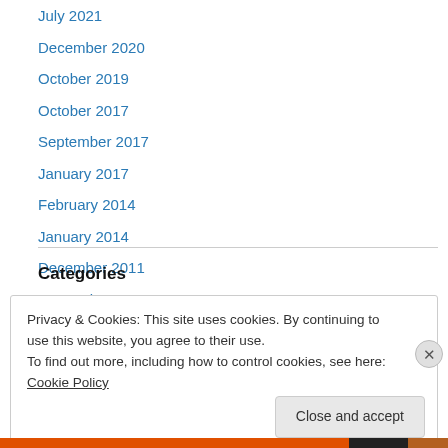July 2021
December 2020
October 2019
October 2017
September 2017
January 2017
February 2014
January 2014
December 2011
September 2011
Categories
Privacy & Cookies: This site uses cookies. By continuing to use this website, you agree to their use.
To find out more, including how to control cookies, see here: Cookie Policy